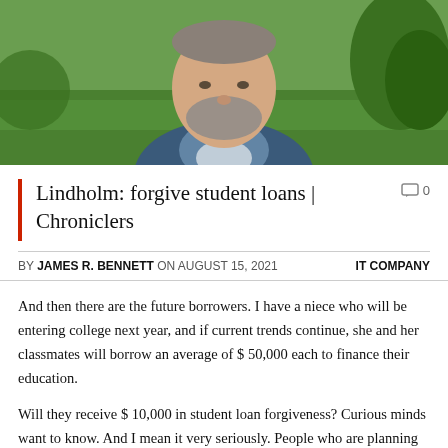[Figure (photo): Portrait photo of a middle-aged man with a grey beard wearing a dark blue shirt, photographed outdoors with green grass and trees in the background.]
Lindholm: forgive student loans | Chroniclers
0
BY JAMES R. BENNETT ON AUGUST 15, 2021 IT COMPANY
And then there are the future borrowers. I have a niece who will be entering college next year, and if current trends continue, she and her classmates will borrow an average of $ 50,000 each to finance their education.
Will they receive $ 10,000 in student loan forgiveness? Curious minds want to know. And I mean it very seriously. People who are planning to go to college make big decisions and they need to know if there will be any debt forgiveness in the future.